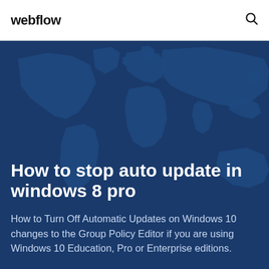webflow
How to stop auto update in windows 8 pro
How to Turn Off Automatic Updates on Windows 10 changes to the Group Policy Editor if you are using Windows 10 Education, Pro or Enterprise editions.